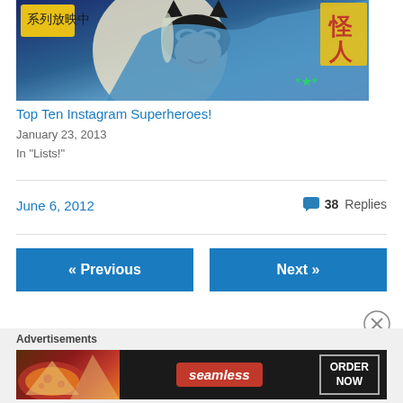[Figure (illustration): Batman comic book style illustration with Japanese text characters visible, blue and purple tones]
Top Ten Instagram Superheroes!
January 23, 2013
In "Lists!"
June 6, 2012
38 Replies
« Previous
Next »
Advertisements
[Figure (screenshot): Seamless food delivery advertisement banner with pizza image and ORDER NOW button]